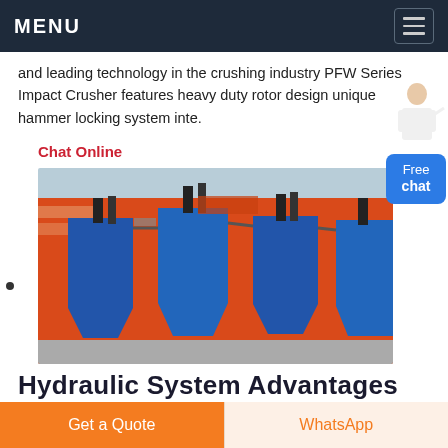MENU
and leading technology in the crushing industry PFW Series Impact Crusher features heavy duty rotor design unique hammer locking system inte.
Chat Online
[Figure (photo): Industrial facility with blue dust collector/hopper units mounted against a large orange-red building wall, with metal scaffolding and pipes visible.]
Hydraulic System Advantages
Get a Quote | WhatsApp